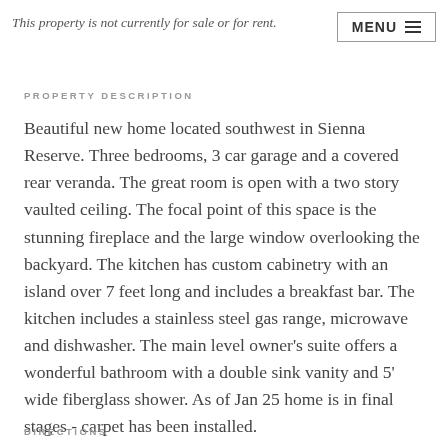This property is not currently for sale or for rent.
PROPERTY DESCRIPTION
Beautiful new home located southwest in Sienna Reserve. Three bedrooms, 3 car garage and a covered rear veranda. The great room is open with a two story vaulted ceiling. The focal point of this space is the stunning fireplace and the large window overlooking the backyard. The kitchen has custom cabinetry with an island over 7 feet long and includes a breakfast bar. The kitchen includes a stainless steel gas range, microwave and dishwasher. The main level owner's suite offers a wonderful bathroom with a double sink vanity and 5' wide fiberglass shower. As of Jan 25 home is in final stages - carpet has been installed.
DIRECTIONS